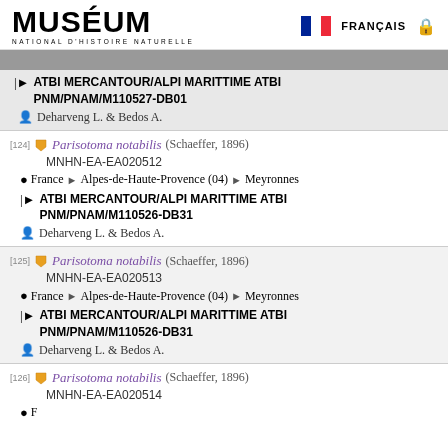MUSÉUM NATIONAL D'HISTOIRE NATURELLE | FRANÇAIS
[partial] ATBI MERCANTOUR/ALPI MARITTIME ATBI PNM/PNAM/M110527-DB01 | Deharveng L. & Bedos A.
[124] Parisotoma notabilis (Schaeffer, 1896) | MNHN-EA-EA020512 | France > Alpes-de-Haute-Provence (04) > Meyronnes | ATBI MERCANTOUR/ALPI MARITTIME ATBI PNM/PNAM/M110526-DB31 | Deharveng L. & Bedos A.
[125] Parisotoma notabilis (Schaeffer, 1896) | MNHN-EA-EA020513 | France > Alpes-de-Haute-Provence (04) > Meyronnes | ATBI MERCANTOUR/ALPI MARITTIME ATBI PNM/PNAM/M110526-DB31 | Deharveng L. & Bedos A.
[126] Parisotoma notabilis (Schaeffer, 1896) | MNHN-EA-EA020514 | France >